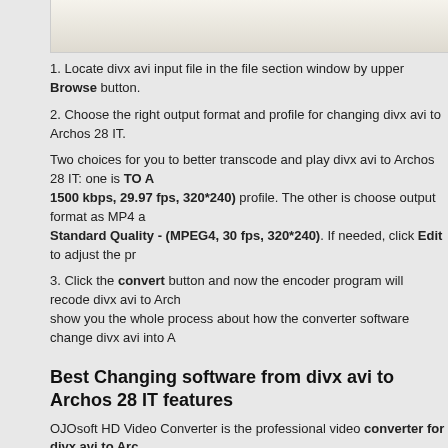[Figure (screenshot): Top portion of a browser UI or input area rendered as a beige/cream gradient box]
1. Locate divx avi input file in the file section window by upper Browse button.
2. Choose the right output format and profile for changing divx avi to Archos 28 IT.
Two choices for you to better transcode and play divx avi to Archos 28 IT: one is TO A... 1500 kbps, 29.97 fps, 320*240) profile. The other is choose output format as MP4 a... Standard Quality - (MPEG4, 30 fps, 320*240). If needed, click Edit to adjust the pro...
3. Click the convert button and now the encoder program will recode divx avi to Arch... show you the whole process about how the converter software change divx avi into A...
Best Changing software from divx avi to Archos 28 IT features
OJOsoft HD Video Converter is the professional video converter for divx avi to Arc... and batch conversion feature, can make conversion between almost all popular vide... MPEG4 AVC, DVR-MS, H.263, H.264,3GP/3GPP, 3G2/3GP2, MJPEG, AVI, DivX, Xv... QuickTime(MOV,QT), etc. in the easiest way.
Learn more: MJPEG AVI to PSP go decoder, Transfer M2TS HD to PSP go, dvd vob... Home Tablet software, Transfer 3G2 to Archos 28 Internet Tablet, Change XviD MKV... FLV to iPad Converter, TS to Archos 504 encoder, Copy Flash to DivX 4, etc..
Points on divx avi video format and Archos 28 IT file
About divx avi